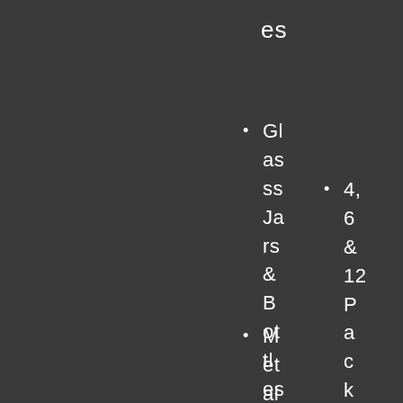es
Glass Jars & Bottles
4, 6 & 12 Pack Carriers
Metal &